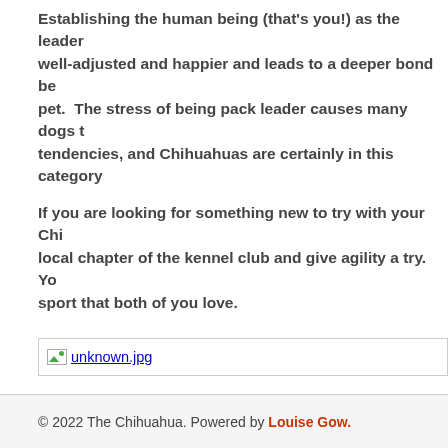Establishing the human being (that's you!) as the leader well-adjusted and happier and leads to a deeper bond be pet. The stress of being pack leader causes many dogs t tendencies, and Chihuahuas are certainly in this category
If you are looking for something new to try with your Chi local chapter of the kennel club and give agility a try. You sport that both of you love.
[Figure (photo): Broken image placeholder showing unknown.jpg]
← What You Need for Your New Chihuahua Puppy    Spaying or N
Comments are closed.
© 2022 The Chihuahua. Powered by Louise Gow.